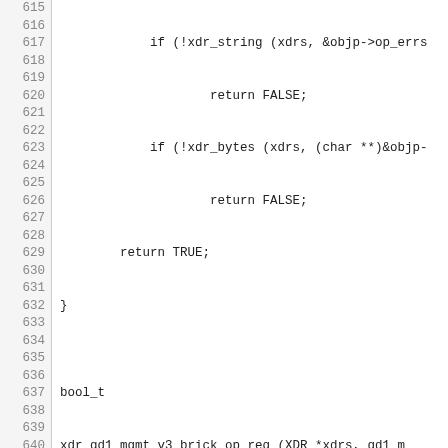Source code listing lines 615-644 showing C functions xdr_gd1_mgmt_v3_brick_op_req and xdr_gd1_mgmt_v3_brick_op_rsp